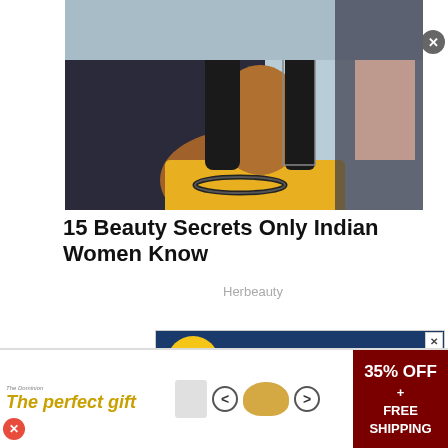[Figure (photo): Advertisement banner: 'The perfect gift' with food bowl image, navigation arrows, and '35% OFF + FREE SHIPPING' in red]
[Figure (photo): Hero photo of an Indian woman wearing yellow outfit and choker necklace]
15 Beauty Secrets Only Indian Women Know
Herbeauty
[Figure (photo): Medical advertisement for OB/Gyn Care: 'My Go-To Place For OB/Gyn Care' featuring Dr. Ahsen Tatar, M.D., welcomes patients to the Center for Obstetrics and Gynecology in Alma]
[Figure (photo): Bottom advertisement banner: 'The perfect gift' with food bowl image, navigation arrows, and '35% OFF + FREE SHIPPING' in dark red]